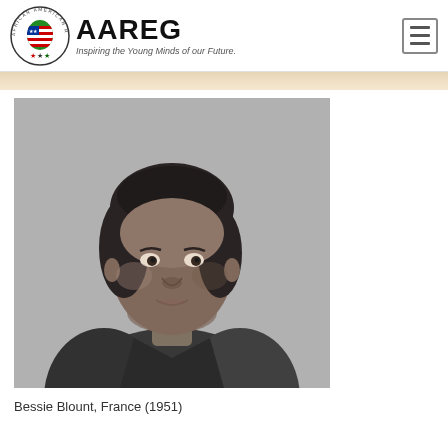[Figure (logo): AAREG (African American Registry) logo with circular emblem showing Africa map with US flag colors, three stars below, and tagline 'Inspiring the Young Minds of our Future.']
[Figure (photo): Black and white portrait photograph of Bessie Blount, taken in France in 1951. Shows a middle-aged African American woman looking slightly to the side, wearing a dark jacket.]
Bessie Blount, France (1951)